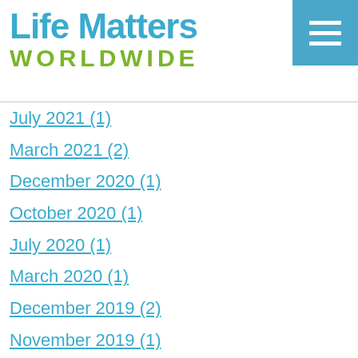[Figure (logo): Life Matters Worldwide logo with blue 'Life Matters' text and green 'WORLDWIDE' text, with a blue square menu icon in the top right corner]
July 2021 (1)
March 2021 (2)
December 2020 (1)
October 2020 (1)
July 2020 (1)
March 2020 (1)
December 2019 (2)
November 2019 (1)
September 2019 (1)
July 2019 (1)
April 2019 (1)
February 2019 (2)
January 2019 (1)
November 2018 (1)
October 2018 (1)